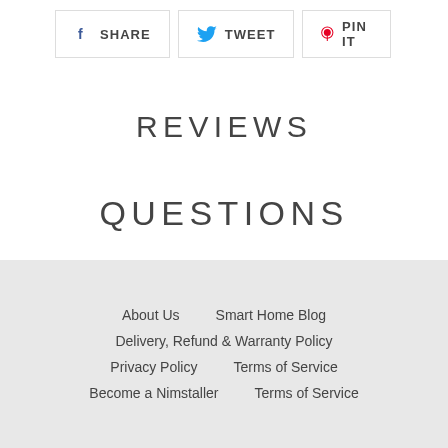[Figure (other): Social share buttons row with Facebook SHARE, Twitter TWEET, and Pinterest PIN IT buttons with icons and borders]
REVIEWS
QUESTIONS
About Us   Smart Home Blog   Delivery, Refund & Warranty Policy   Privacy Policy   Terms of Service   Become a Nimstaller   Terms of Service